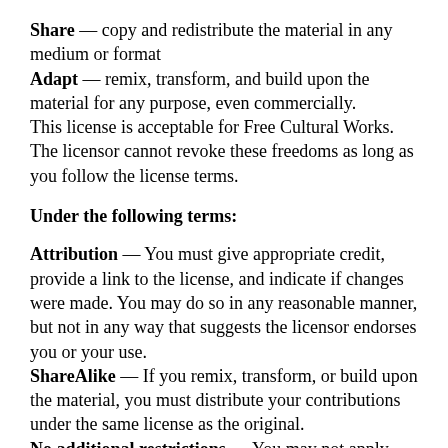Share — copy and redistribute the material in any medium or format
Adapt — remix, transform, and build upon the material for any purpose, even commercially.
This license is acceptable for Free Cultural Works.
The licensor cannot revoke these freedoms as long as you follow the license terms.
Under the following terms:
Attribution — You must give appropriate credit, provide a link to the license, and indicate if changes were made. You may do so in any reasonable manner, but not in any way that suggests the licensor endorses you or your use.
ShareAlike — If you remix, transform, or build upon the material, you must distribute your contributions under the same license as the original.
No additional restrictions — You may not apply legal terms or technological measures that legally restrict